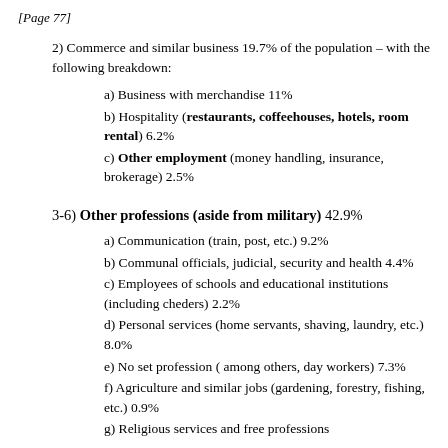[Page 77]
2) Commerce and similar business 19.7% of the population – with the following breakdown:
a) Business with merchandise 11%
b) Hospitality (restaurants, coffeehouses, hotels, room rental) 6.2%
c) Other employment (money handling, insurance, brokerage) 2.5%
3-6) Other professions (aside from military) 42.9%
a) Communication (train, post, etc.) 9.2%
b) Communal officials, judicial, security and health 4.4%
c) Employees of schools and educational institutions (including cheders) 2.2%
d) Personal services (home servants, shaving, laundry, etc.) 8.0%
e) No set profession ( among others, day workers) 7.3%
f) Agriculture and similar jobs (gardening, forestry, fishing, etc.) 0.9%
g) Religious services and free professions